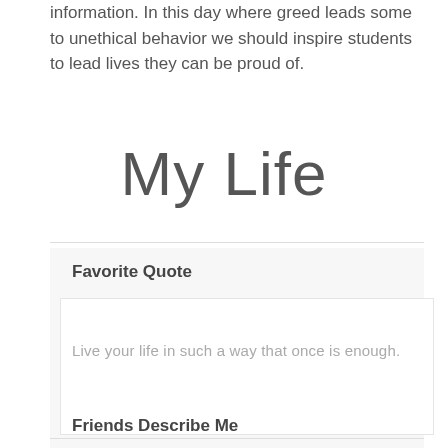information. In this day where greed leads some to unethical behavior we should inspire students to lead lives they can be proud of.
My Life
Favorite Quote
Live your life in such a way that once is enough.
Friends Describe Me